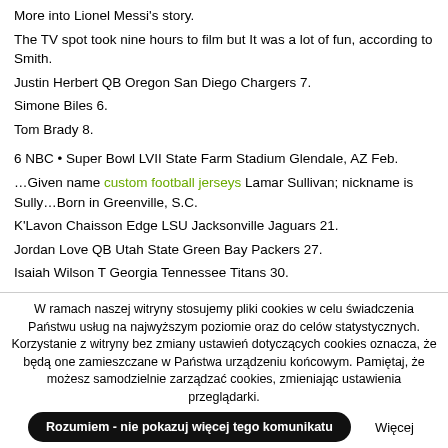More into Lionel Messi's story.
The TV spot took nine hours to film but It was a lot of fun, according to Smith.
Justin Herbert QB Oregon San Diego Chargers 7.
Simone Biles 6.
Tom Brady 8.
6 NBC • Super Bowl LVII State Farm Stadium Glendale, AZ Feb.
…Given name custom football jerseys Lamar Sullivan; nickname is Sully…Born in Greenville, S.C.
K'Lavon Chaisson Edge LSU Jacksonville Jaguars 21.
Jordan Love QB Utah State Green Bay Packers 27.
Isaiah Wilson T Georgia Tennessee Titans 30.
While Easter, which occurred a week earlier this year than it did in 2019, may have been responsible for some sales in March, school closings was the key driver of toy industry growth in the first quarter.
W ramach naszej witryny stosujemy pliki cookies w celu świadczenia Państwu usług na najwyższym poziomie oraz do celów statystycznych. Korzystanie z witryny bez zmiany ustawień dotyczących cookies oznacza, że będą one zamieszczane w Państwa urządzeniu końcowym. Pamiętaj, że możesz samodzielnie zarządzać cookies, zmieniając ustawienia przeglądarki.
Rozumiem - nie pokazuj więcej tego komunikatu
Więcej